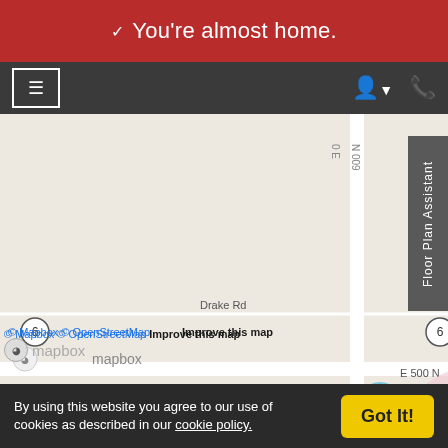❤ You're almost home.
[Figure (map): Mapbox/OpenStreetMap map showing location near Parkview Noble Hospital and Kendallville, Indiana area. A black location pin with a grid icon marks the property. Roads visible include Drake Rd, Beacon Rd, E 500 N, W Waits Rd, Riley Rd. Route markers for highways 3 and 6 visible. Map attribution: © Mapbox © OpenStreetMap Improve this map]
Floor Plan Assistant
By using this website you agree to our use of cookies as described in our cookie policy.
Got It!